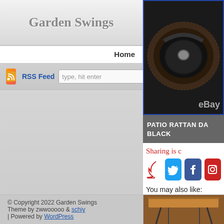Garden Swings
Home
RSS Feed  type, hit enter
Log in
© Copyright 2022 Garden Swings
Theme by zwwooooo & schiy
| Powered by WordPress
[Figure (photo): Patio rattan daybed product photo on eBay, dark wicker circular lounger with black cushions, top-down angle]
PATIO RATTAN DA... BLACK
Sharing is c...
You may also like:
[Figure (photo): Bottom partial product image showing a garden swing canopy frame in brown/copper tones]